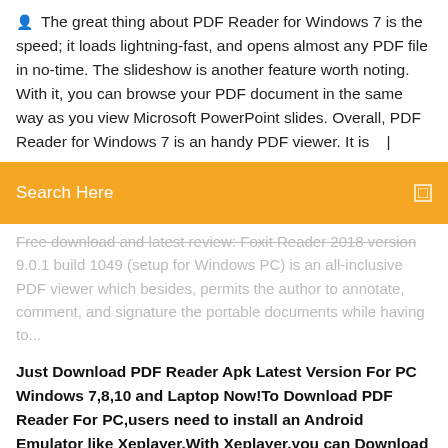The great thing about PDF Reader for Windows 7 is the speed; it loads lightning-fast, and opens almost any PDF file in no-time. The slideshow is another feature worth noting. With it, you can browse your PDF document in the same way as you view Microsoft PowerPoint slides. Overall, PDF Reader for Windows 7 is an handy PDF viewer. It is  |
[Figure (screenshot): Orange search bar with 'Search Here' text in white and a small square icon on the right]
Free download and latest review: Foxit Reader 2018 version 9.0.1 build 1049 (setup for Windows PC) is an all-inclusive PDF viewer which besides, permits the author to annotate, comment, and signature the portable documents while having to...
Just Download PDF Reader Apk Latest Version For PC Windows 7,8,10 and Laptop Now!To Download PDF Reader For PC,users need to install an Android Emulator like Xeplayer.With Xeplayer,you can Download PDF Reader for PC version on your Windows